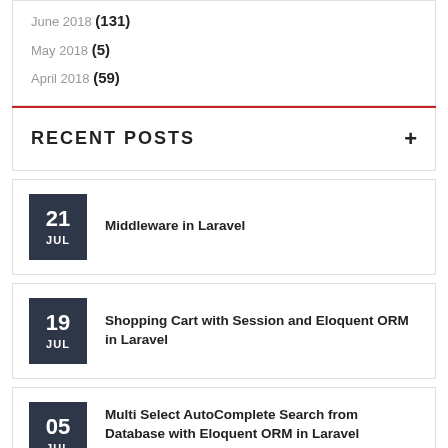June 2018 (131)
May 2018 (5)
April 2018 (59)
RECENT POSTS
21 JUL — Middleware in Laravel
19 JUL — Shopping Cart with Session and Eloquent ORM in Laravel
05 JUL — Multi Select AutoComplete Search from Database with Eloquent ORM in Laravel Framework